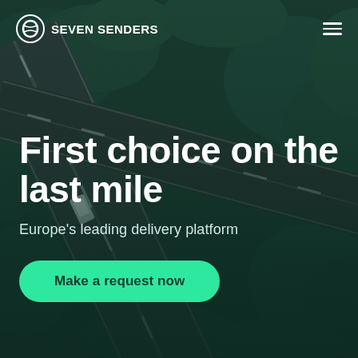[Figure (photo): Aerial view of multi-lane highways intersecting, surrounded by green forest trees, with a single car visible on the road. Dark teal/green color tone.]
SEVEN SENDERS ☰
First choice on the last mile
Europe's leading delivery platform
Make a request now